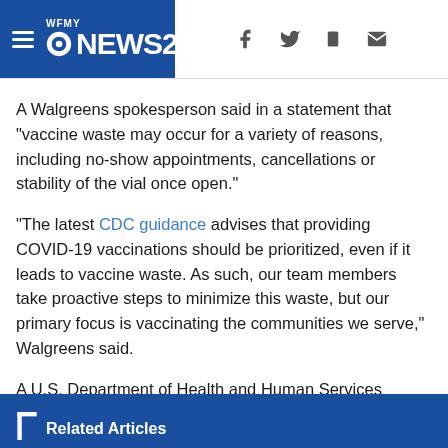WFMY NEWS 2
A Walgreens spokesperson said in a statement that “vaccine waste may occur for a variety of reasons, including no-show appointments, cancellations or stability of the vial once open.”
“The latest CDC guidance advises that providing COVID-19 vaccinations should be prioritized, even if it leads to vaccine waste. As such, our team members take proactive steps to minimize this waste, but our primary focus is vaccinating the communities we serve,” Walgreens said.
A U.S. Department of Health and Human Services (HHS) spokesperson told VERIFY it is now working with vaccine manufacturers to reconfigure vial sizes, including single-use vials, in an effort to optimize supply and reduce unused doses.
Related Articles